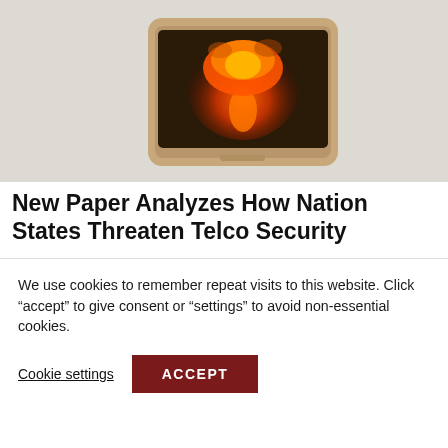[Figure (photo): A smartphone lying flat with a nuclear mushroom cloud explosion erupting from its screen, on a dark background]
New Paper Analyzes How Nation States Threaten Telco Security
[Figure (photo): A TV news broadcast showing a news anchor, with overlays reading 'NATIONAL' and 'CALLING ALL SCAMMERS' with a person in shadow]
We use cookies to remember repeat visits to this website. Click “accept” to give consent or “settings” to avoid non-essential cookies.
Cookie settings
ACCEPT